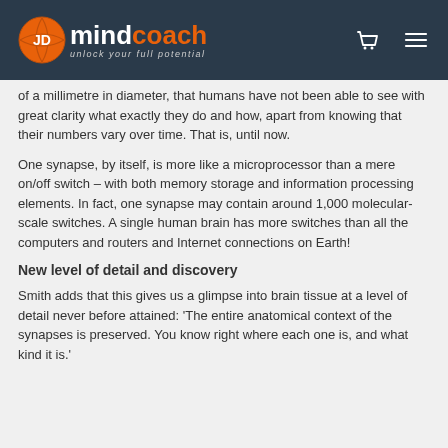JD mindcoach – unlock your full potential
of a millimetre in diameter, that humans have not been able to see with great clarity what exactly they do and how, apart from knowing that their numbers vary over time. That is, until now.
One synapse, by itself, is more like a microprocessor than a mere on/off switch – with both memory storage and information processing elements. In fact, one synapse may contain around 1,000 molecular-scale switches. A single human brain has more switches than all the computers and routers and Internet connections on Earth!
New level of detail and discovery
Smith adds that this gives us a glimpse into brain tissue at a level of detail never before attained: 'The entire anatomical context of the synapses is preserved. You know right where each one is, and what kind it is.'